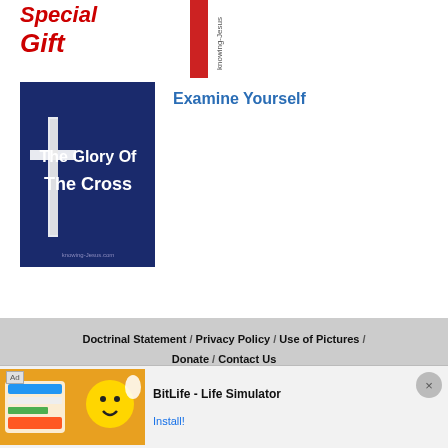[Figure (illustration): Partial view of a book cover with red text 'Special Gift' and a red vertical element, with 'knowing-Jesus' text visible sideways on the right edge]
[Figure (illustration): Dark navy blue book cover image with a white cross on the left and white text reading 'The Glory Of The Cross']
Examine Yourself
Doctrinal Statement / Privacy Policy / Use of Pictures / Donate / Contact Us
© Copyright [2011 - 2022] Knowing-Jesus.com - All Rights
[Figure (screenshot): Ad banner for BitLife - Life Simulator with game screenshot thumbnail on left, app name and Install button on right, with close X button]